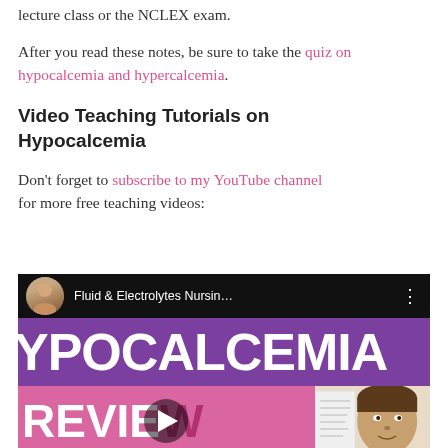lecture class or the NCLEX exam.
After you read these notes, be sure to take the quiz on hypocalcemia and hypercalcemia.
Video Teaching Tutorials on Hypocalcemia
Don't forget to subscribe to my YouTube channel for more free teaching videos:
[Figure (screenshot): YouTube video thumbnail showing a nursing tutorial on Hypocalcemia. The video header shows a woman's avatar photo and the title 'Fluid & Electrolytes Nursin...' with a three-dot menu. Below is a purple banner with large white text 'HYPOCALCEMIA' and a pink banner with white text 'REVIEW' overlaid with a play button. To the right is a partial view of a woman presenting in front of a whiteboard.]